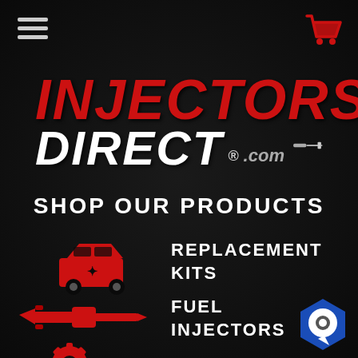[Figure (logo): Hamburger menu icon (three horizontal lines) in top left corner]
[Figure (logo): Red shopping cart icon in top right corner]
INJECTORS DIRECT.com
SHOP OUR PRODUCTS
[Figure (illustration): Red icon of a car/truck component (engine/injector housing) and red fuel injector icon and red gear/accessories icon]
REPLACEMENT KITS
FUEL INJECTORS
ACCESSORIES
[Figure (illustration): Blue hexagon chat bubble icon in bottom right corner]